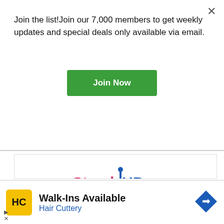Join the list!Join our 7,000 members to get weekly updates and special deals only available via email.
Join Now
[Figure (logo): Stand UP for Student Well-Being logo with text 'literacy · arts · curiosity']
Stand UP for Student Well Being
This provider is both online and in-person.
Drama & Theatre • Arts Camps
[Figure (logo): Hair Cuttery advertisement with HC logo. Walk-Ins Available. Hair Cuttery.]